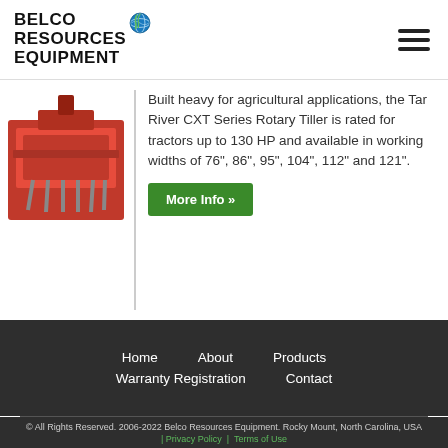[Figure (logo): Belco Resources Equipment logo with globe icon]
[Figure (photo): Red rotary tiller agricultural equipment]
Built heavy for agricultural applications, the Tar River CXT Series Rotary Tiller is rated for tractors up to 130 HP and available in working widths of 76", 86", 95", 104", 112" and 121".
More Info »
Home
About
Products
Warranty Registration
Contact
© All Rights Reserved. 2006-2022 Belco Resources Equipment. Rocky Mount, North Carolina, USA | Privacy Policy | Terms of Use